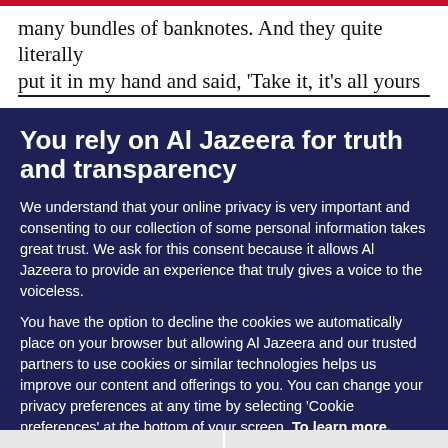many bundles of banknotes. And they quite literally
put it in my hand and said, ‘Take it, it’s all yours
You rely on Al Jazeera for truth and transparency
We understand that your online privacy is very important and consenting to our collection of some personal information takes great trust. We ask for this consent because it allows Al Jazeera to provide an experience that truly gives a voice to the voiceless.
You have the option to decline the cookies we automatically place on your browser but allowing Al Jazeera and our trusted partners to use cookies or similar technologies helps us improve our content and offerings to you. You can change your privacy preferences at any time by selecting ‘Cookie preferences’ at the bottom of your screen. To learn more, please view our Cookie Policy.